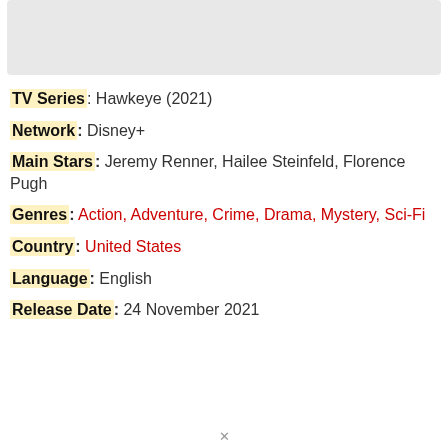[Figure (other): Gray placeholder box at top of page]
TV Series: Hawkeye (2021)
Network: Disney+
Main Stars: Jeremy Renner, Hailee Steinfeld, Florence Pugh
Genres: Action, Adventure, Crime, Drama, Mystery, Sci-Fi
Country: United States
Language: English
Release Date: 24 November 2021